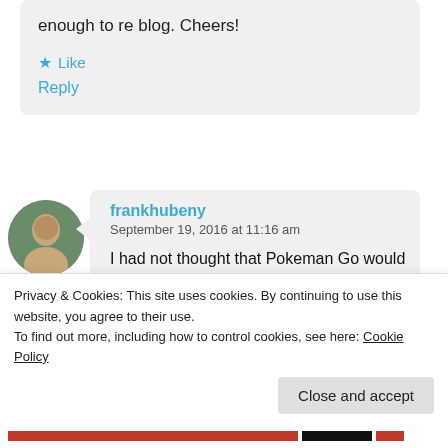enough to re blog. Cheers!
Like
Reply
frankhubeny
September 19, 2016 at 11:16 am
I had not thought that Pokeman Go would lead to bad posture, but I can see that it does. Posture is critical even if one is not exercising. I see
Advertisements
Privacy & Cookies: This site uses cookies. By continuing to use this website, you agree to their use.
To find out more, including how to control cookies, see here: Cookie Policy
Close and accept